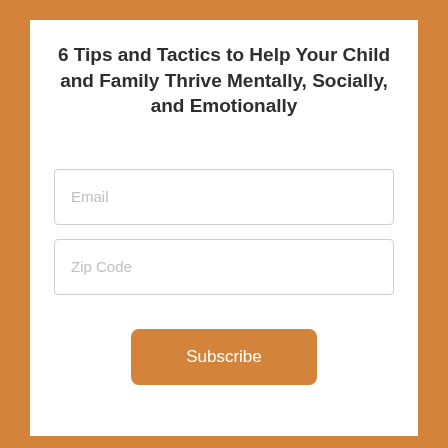6 Tips and Tactics to Help Your Child and Family Thrive Mentally, Socially, and Emotionally
Email
Zip Code
Subscribe